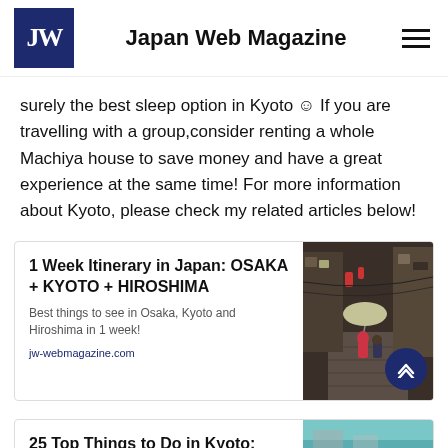Japan Web Magazine
surely the best sleep option in Kyoto ☺ If you are travelling with a group,consider renting a whole Machiya house to save money and have a great experience at the same time! For more information about Kyoto, please check my related articles below!
[Figure (screenshot): Article card: 1 Week Itinerary in Japan: OSAKA + KYOTO + HIROSHIMA, with a photo of a traditional Japanese alleyway, person with umbrella wearing red hat]
[Figure (screenshot): Article card partial: 25 Top Things to Do in Kyoto: Kyoto Bucket, with a teal/blue photo]